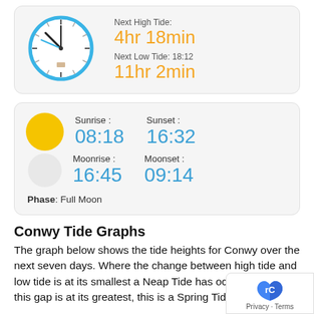[Figure (infographic): Tide countdown card showing a clock face and tide times. Next High Tide: 4hr 18min, Next Low Tide 18:12, 11hr 2min]
[Figure (infographic): Sun and moon information card. Sunrise: 08:18, Sunset: 16:32, Moonrise: 16:45, Moonset: 09:14, Phase: Full Moon]
Conwy Tide Graphs
The graph below shows the tide heights for Conwy over the next seven days. Where the change between high tide and low tide is at its smallest a Neap Tide has occurred. Where this gap is at its greatest, this is a Spring Tide. These times are not adjusted for DST.